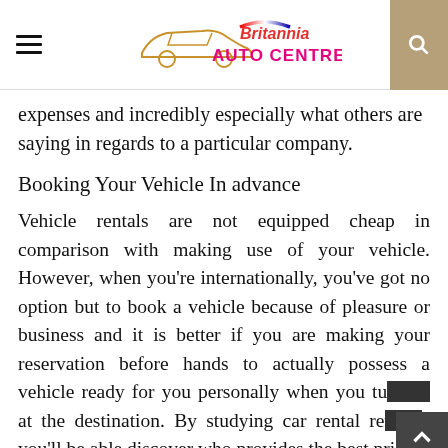Britannia AUTO CENTRES
expenses and incredibly especially what others are saying in regards to a particular company.
Booking Your Vehicle In advance
Vehicle rentals are not equipped cheap in comparison with making use of your vehicle. However, when you’re internationally, you’ve got no option but to book a vehicle because of pleasure or business and it is better if you are making your reservation before hands to actually possess a vehicle ready for you personally when you turn up at the destination. By studying car rental reviews you’ll be able discover who provides the best prices